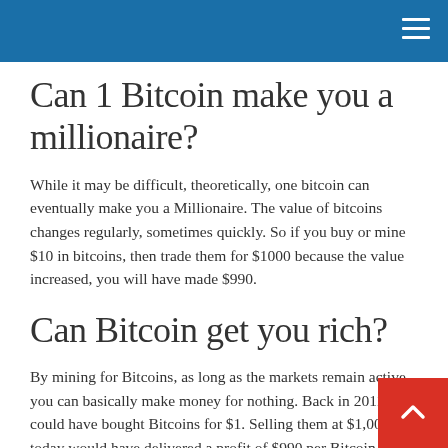Can 1 Bitcoin make you a millionaire?
While it may be difficult, theoretically, one bitcoin can eventually make you a Millionaire. The value of bitcoins changes regularly, sometimes quickly. So if you buy or mine $10 in bitcoins, then trade them for $1000 because the value increased, you will have made $990.
Can Bitcoin get you rich?
By mining for Bitcoins, as long as the markets remain active you can basically make money for nothing. Back in 2011, you could have bought Bitcoins for $1. Selling them at $1,000 today would have delivered a profit of $990 per Bitcoin. Basically you should have